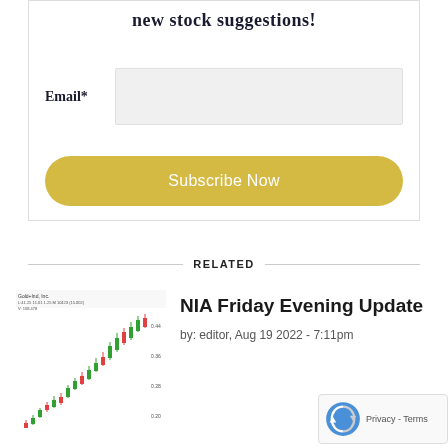new stock suggestions!
Email*
Subscribe Now
RELATED
[Figure (other): Candlestick stock chart thumbnail showing upward trending price action with green and red candles]
NIA Friday Evening Update
by: editor, Aug 19 2022 - 7:11pm